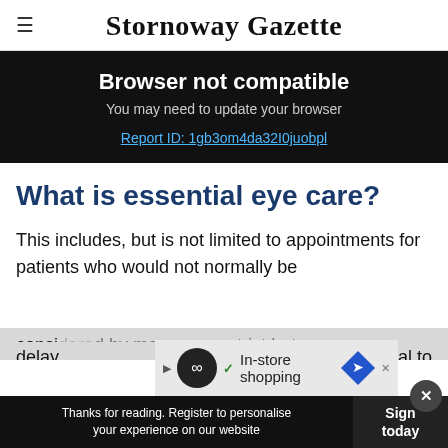Stornoway Gazette
Browser not compatible
You may need to update your browser
Report ID: 1gb3om4da32I0juobpl
What is essential eye care?
This includes, but is not limited to appointments for patients who would not normally be considered…delay…al to
[Figure (screenshot): Advertisement bar with loop icon, In-store shopping text and navigation arrow diamond icon]
Thanks for reading. Register to personalise your experience on our website | Sign today